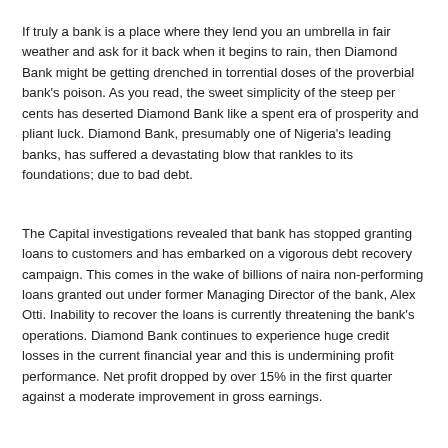If truly a bank is a place where they lend you an umbrella in fair weather and ask for it back when it begins to rain, then Diamond Bank might be getting drenched in torrential doses of the proverbial bank's poison. As you read, the sweet simplicity of the steep per cents has deserted Diamond Bank like a spent era of prosperity and pliant luck. Diamond Bank, presumably one of Nigeria's leading banks, has suffered a devastating blow that rankles to its foundations; due to bad debt.
The Capital investigations revealed that bank has stopped granting loans to customers and has embarked on a vigorous debt recovery campaign. This comes in the wake of billions of naira non-performing loans granted out under former Managing Director of the bank, Alex Otti. Inability to recover the loans is currently threatening the bank's operations. Diamond Bank continues to experience huge credit losses in the current financial year and this is undermining profit performance. Net profit dropped by over 15% in the first quarter against a moderate improvement in gross earnings.